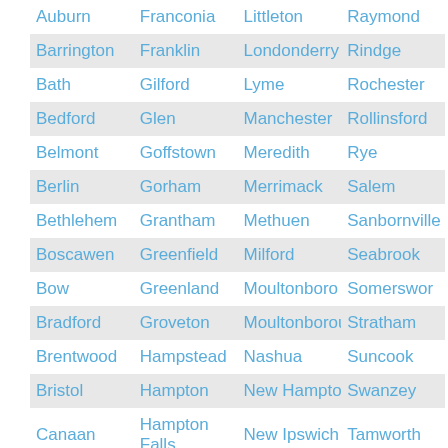| Auburn | Franconia | Littleton | Raymond |
| Barrington | Franklin | Londonderry | Rindge |
| Bath | Gilford | Lyme | Rochester |
| Bedford | Glen | Manchester | Rollinsford |
| Belmont | Goffstown | Meredith | Rye |
| Berlin | Gorham | Merrimack | Salem |
| Bethlehem | Grantham | Methuen | Sanbornville |
| Boscawen | Greenfield | Milford | Seabrook |
| Bow | Greenland | Moultonboro | Somerswor |
| Bradford | Groveton | Moultonborough | Stratham |
| Brentwood | Hampstead | Nashua | Suncook |
| Bristol | Hampton | New Hampton | Swanzey |
| Canaan | Hampton Falls | New Ipswich | Tamworth |